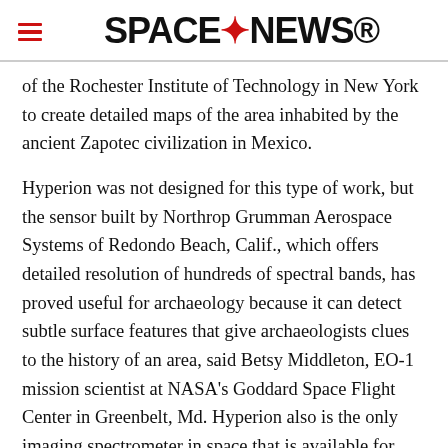SPACENEWS
of the Rochester Institute of Technology in New York to create detailed maps of the area inhabited by the ancient Zapotec civilization in Mexico.
Hyperion was not designed for this type of work, but the sensor built by Northrop Grumman Aerospace Systems of Redondo Beach, Calif., which offers detailed resolution of hundreds of spectral bands, has proved useful for archaeology because it can detect subtle surface features that give archaeologists clues to the history of an area, said Betsy Middleton, EO-1 mission scientist at NASA's Goddard Space Flight Center in Greenbelt, Md. Hyperion also is the only imaging spectrometer in space that is available for civilian use, she added.